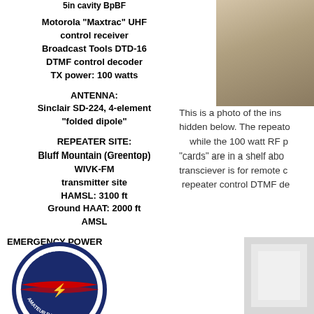5in cavity BpBF
Motorola "Maxtrac" UHF control receiver
Broadcast Tools DTD-16
DTMF control decoder
TX power: 100 watts
ANTENNA:
Sinclair SD-224, 4-element
"folded dipole"
REPEATER SITE:
Bluff Mountain (Greentop)
WIVK-FM
transmitter site
HAMSL: 3100 ft
Ground HAAT: 2000 ft AMSL
[Figure (photo): Photo of the installation, partially visible at top right corner]
This is a photo of the ins hidden below. The repeato while the 100 watt RF p "cards" are in a shelf abo transciever is for remote c repeater control DTMF de
EMERGENCY POWER
[Figure (logo): Sevier County Amateur Radio club circular logo, blue border with red and white stripes]
[Figure (photo): Partial photo at bottom right]